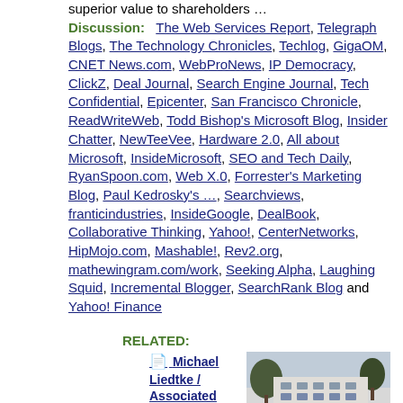superior value to shareholders …
Discussion: The Web Services Report, Telegraph Blogs, The Technology Chronicles, Techlog, GigaOM, CNET News.com, WebProNews, IP Democracy, ClickZ, Deal Journal, Search Engine Journal, Tech Confidential, Epicenter, San Francisco Chronicle, ReadWriteWeb, Todd Bishop's Microsoft Blog, Insider Chatter, NewTeeVee, Hardware 2.0, All about Microsoft, InsideMicrosoft, SEO and Tech Daily, RyanSpoon.com, Web X.0, Forrester's Marketing Blog, Paul Kedrosky's …, Searchviews, franticindustries, InsideGoogle, DealBook, Collaborative Thinking, Yahoo!, CenterNetworks, HipMojo.com, Mashable!, Rev2.org, mathewingram.com/work, Seeking Alpha, Laughing Squid, Incremental Blogger, SearchRank Blog and Yahoo! Finance
RELATED:
Michael Liedtke / Associated Press:
[Figure (photo): Photo of Yahoo! headquarters building with Yahoo! sign visible at bottom]